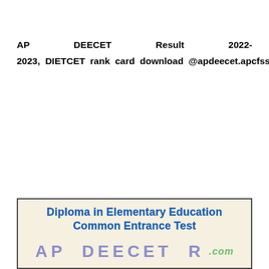AP DEECET Result 2022-2023, DIETCET rank card download @apdeecet.apcfss.in : AP DEECET Results 2022 will declare through online. AP DIETCET counselling schedule will be downloaded from www.apdeecet.apcfss.in, Candidates who have attended for the AP DIETCET Entrance Exam 2022, those aspirants check the result by visiting apdeecet.apcfss.in
[Figure (illustration): Box with beige background showing 'Diploma in Elementary Education Common Entrance Test' in bold blue text and 'AP DEECET' in large purple/lavender letters with a green watermark '.com']